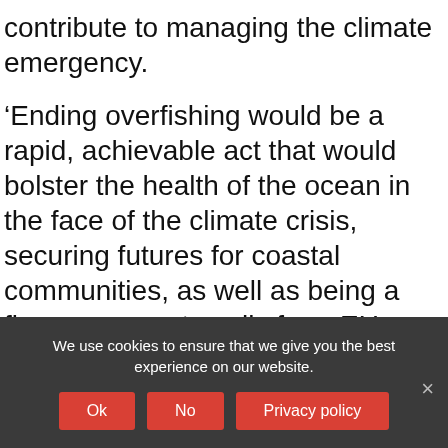contribute to managing the climate emergency.
'Ending overfishing would be a rapid, achievable act that would bolster the health of the ocean in the face of the climate crisis, securing futures for coastal communities, as well as being a firm response to calls from EU citizens for climate action', said Hubbard.
Protecting fish stocks today would guard the profitability of fisheries in the future. However, it seems the typical pattern focusing on short-
We use cookies to ensure that we give you the best experience on our website.